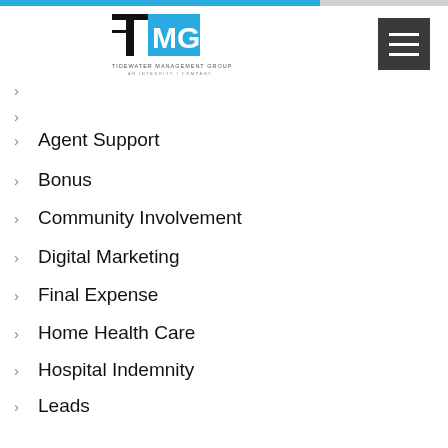[Figure (logo): Tidewater Management Group - An Integrity Company logo with TMG in blue and black]
Agent Support
Bonus
Community Involvement
Digital Marketing
Final Expense
Home Health Care
Hospital Indemnity
Leads
Life Insurance
Medicare Advantage & Part D
Medicare Supplement